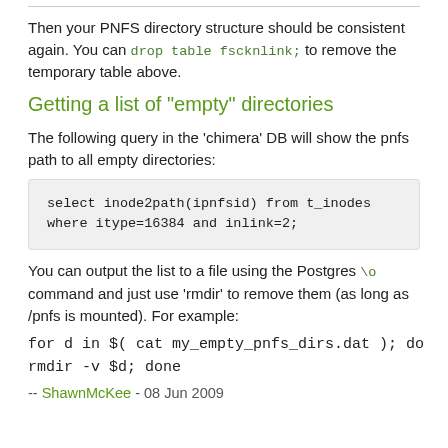Then your PNFS directory structure should be consistent again. You can drop table fscknlink; to remove the temporary table above.
Getting a list of "empty" directories
The following query in the 'chimera' DB will show the pnfs path to all empty directories:
select inode2path(ipnfsid) from t_inodes
where itype=16384 and inlink=2;
You can output the list to a file using the Postgres \o command and just use 'rmdir' to remove them (as long as /pnfs is mounted). For example:
for d in $( cat my_empty_pnfs_dirs.dat ); do
rmdir -v $d; done
-- ShawnMcKee - 08 Jun 2009